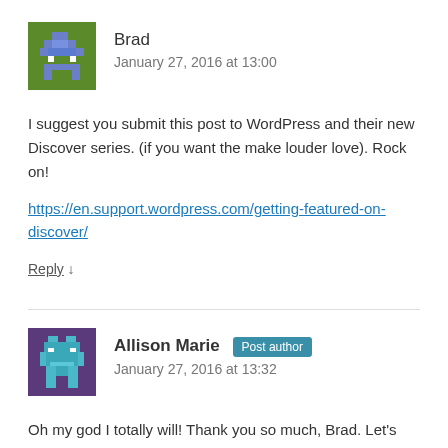[Figure (illustration): Pixel art avatar of Brad - green background with blue/gray robot/space invader character]
Brad
January 27, 2016 at 13:00
I suggest you submit this post to WordPress and their new Discover series. (if you want the make louder love). Rock on!
https://en.support.wordpress.com/getting-featured-on-discover/
Reply ↓
[Figure (illustration): Pixel art avatar of Allison Marie - purple background with teal/blue robot character]
Allison Marie Post author
January 27, 2016 at 13:32
Oh my god I totally will! Thank you so much, Brad. Let's get